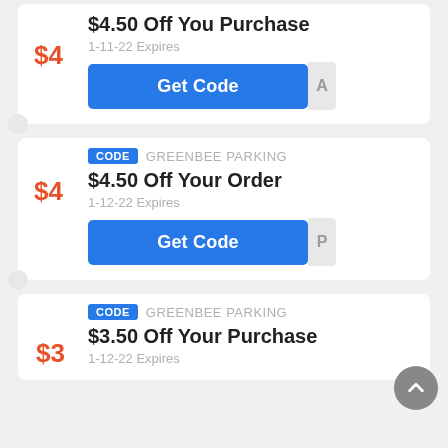$4.50 Off You Purchase
1-11-22 Expires
Get Code
$4
CODE  GREENBEE PARKING
$4.50 Off Your Order
1-12-22 Expires
Get Code
$4
CODE  GREENBEE PARKING
$3.50 Off Your Purchase
1-12-22 Expires